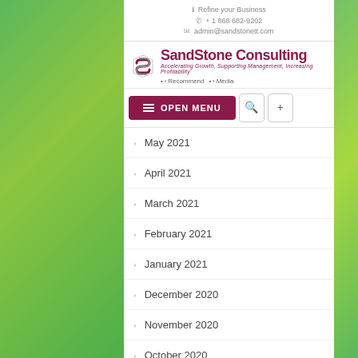Refine your Business | + 1 868 682-9202 | admin@sandstonett.com
[Figure (logo): SandStone Consulting logo with S icon and tagline: Accelerating Growth, Supporting Management, Increasing Profitability]
OPEN MENU
May 2021
April 2021
March 2021
February 2021
January 2021
December 2020
November 2020
October 2020
September 2020